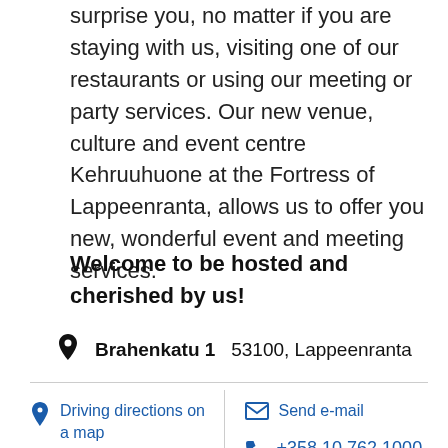surprise you, no matter if you are staying with us, visiting one of our restaurants or using our meeting or party services. Our new venue, culture and event centre Kehruuhuone at the Fortress of Lappeenranta, allows us to offer you new, wonderful event and meeting services.
Welcome to be hosted and cherished by us!
Brahenkatu 1   53100, Lappeenranta
Driving directions on a map
Send e-mail
+358 10 762 1000